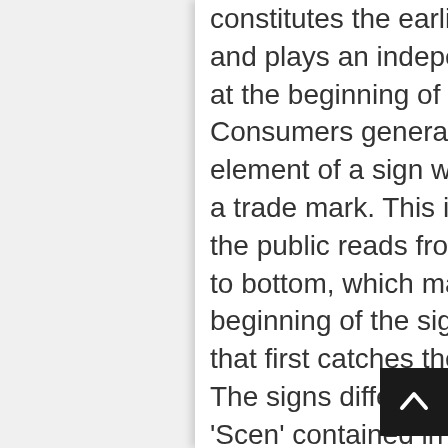constitutes the earlier mark, is reproduced and plays an independent and distinctive role at the beginning of the contested sign. Consumers generally tend to focus on the first element of a sign when being confronted with a trade mark. This is justified by the fact that the public reads from left to right and from top to bottom, which makes the part placed at the beginning of the sign (the initial part) the one that first catches the attention of the reader. The signs differ in the additional element 'Scen' contained in the contested sign. However, as explained above, the coinciding initial element of